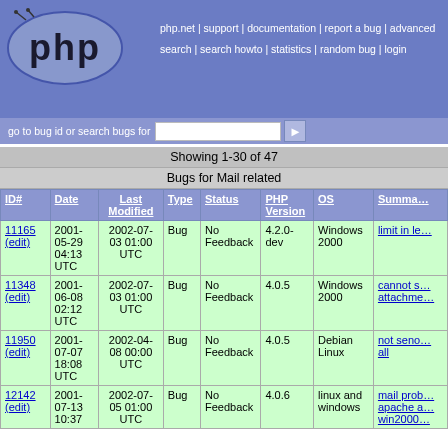[Figure (logo): PHP logo — stylized bug with 'php' text in oval]
php.net | support | documentation | report a bug | advanced search | search howto | statistics | random bug | login
go to bug id or search bugs for
Showing 1-30 of 47
Bugs for Mail related
| ID# | Date | Last Modified | Type | Status | PHP Version | OS | Summa… |
| --- | --- | --- | --- | --- | --- | --- | --- |
| 11165 (edit) | 2001-05-29 04:13 UTC | 2002-07-03 01:00 UTC | Bug | No Feedback | 4.2.0-dev | Windows 2000 | limit in le… |
| 11348 (edit) | 2001-06-08 02:12 UTC | 2002-07-03 01:00 UTC | Bug | No Feedback | 4.0.5 | Windows 2000 | cannot s… attachme… |
| 11950 (edit) | 2001-07-07 18:08 UTC | 2002-04-08 00:00 UTC | Bug | No Feedback | 4.0.5 | Debian Linux | not seno… all |
| 12142 (edit) | 2001-07-13 10:37… | 2002-07-05 01:00 UTC | Bug | No Feedback | 4.0.6 | linux and windows | mail prob… apache a… win2000… |